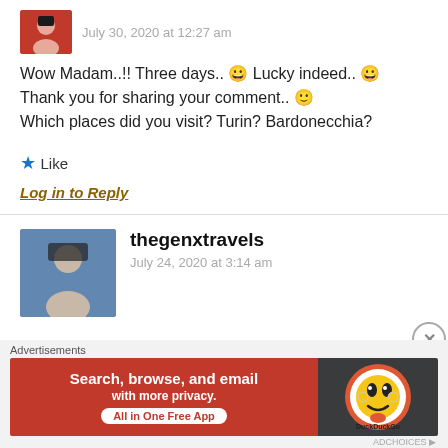July 30, 2020 at 12:27 am
Wow Madam..!! Three days.. 😀 Lucky indeed.. 😀 Thank you for sharing your comment.. 🙂 Which places did you visit? Turin? Bardonecchia?
★ Like
Log in to Reply
thegenxtravels
July 24, 2020 at 3:14 am
Advertisements
[Figure (screenshot): DuckDuckGo advertisement banner: 'Search, browse, and email with more privacy. All in One Free App' with DuckDuckGo logo on dark background]